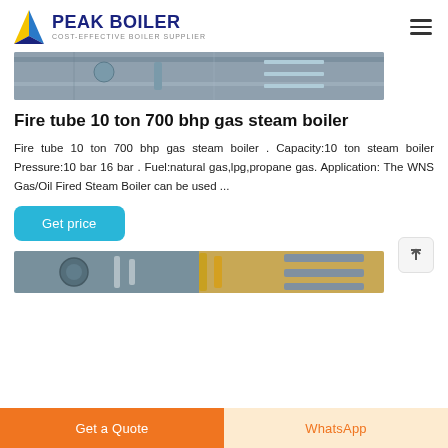PEAK BOILER COST-EFFECTIVE BOILER SUPPLIER
[Figure (photo): Top portion of an industrial boiler equipment photo, cropped]
Fire tube 10 ton 700 bhp gas steam boiler
Fire tube 10 ton 700 bhp gas steam boiler . Capacity:10 ton steam boiler Pressure:10 bar 16 bar . Fuel:natural gas,lpg,propane gas. Application: The WNS Gas/Oil Fired Steam Boiler can be used ...
[Figure (other): Get price button - cyan/teal rounded rectangle button]
[Figure (photo): Bottom portion of industrial boiler equipment photo, partially visible]
Get a Quote | WhatsApp